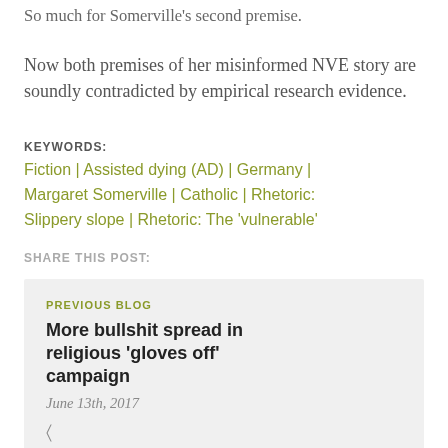So much for Somerville's second premise.
Now both premises of her misinformed NVE story are soundly contradicted by empirical research evidence.
KEYWORDS: Fiction | Assisted dying (AD) | Germany | Margaret Somerville | Catholic | Rhetoric: Slippery slope | Rhetoric: The 'vulnerable'
SHARE THIS POST:
PREVIOUS BLOG
More bullshit spread in religious 'gloves off' campaign
June 13th, 2017